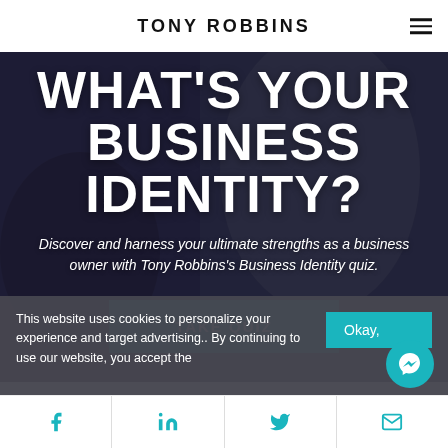TONY ROBBINS
WHAT'S YOUR BUSINESS IDENTITY?
Discover and harness your ultimate strengths as a business owner with Tony Robbins's Business Identity quiz.
TAKE QUIZ
This website uses cookies to personalize your experience and target advertising.. By continuing to use our website, you accept the
Okay,
Facebook | LinkedIn | Twitter | Email